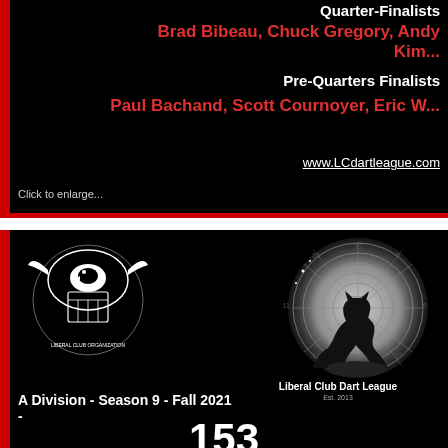Quarter-Finalists
Brad Bibeau, Chuck Gregory, Andy Kim...
Pre-Quarters Finalists
Paul Bachand, Scott Cournoyer, Eric W...
www.LCdartleague.com
Click to enlarge...
[Figure (logo): Liberal Club organization eagle crest logo in white on black]
[Figure (illustration): Wolf silhouette howling at full moon styled as a dartboard, Liberal Club Dart League Est. 2013]
A Division - Season 9 - Fall 2021 -
153